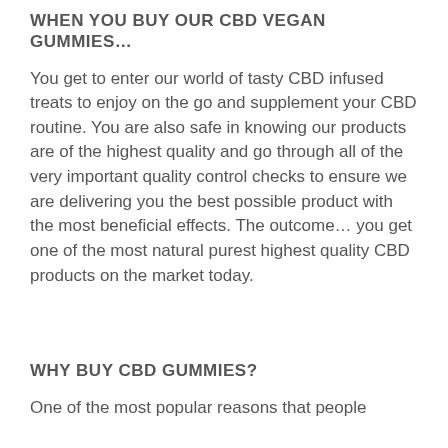WHEN YOU BUY OUR CBD VEGAN GUMMIES…
You get to enter our world of tasty CBD infused treats to enjoy on the go and supplement your CBD routine. You are also safe in knowing our products are of the highest quality and go through all of the very important quality control checks to ensure we are delivering you the best possible product with the most beneficial effects. The outcome… you get one of the most natural purest highest quality CBD products on the market today.
WHY BUY CBD GUMMIES?
One of the most popular reasons that people